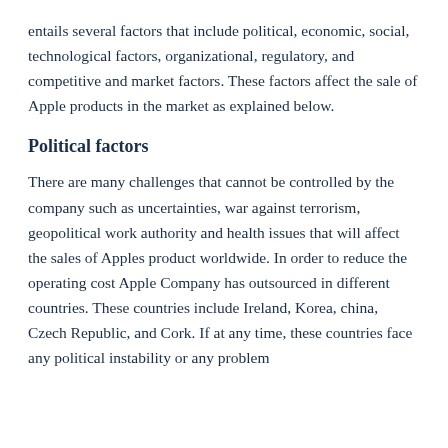entails several factors that include political, economic, social, technological factors, organizational, regulatory, and competitive and market factors. These factors affect the sale of Apple products in the market as explained below.
Political factors
There are many challenges that cannot be controlled by the company such as uncertainties, war against terrorism, geopolitical work authority and health issues that will affect the sales of Apples product worldwide. In order to reduce the operating cost Apple Company has outsourced in different countries. These countries include Ireland, Korea, china, Czech Republic, and Cork. If at any time, these countries face any political instability or any problem